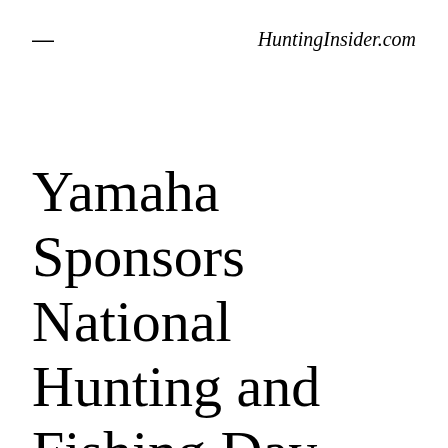≡  HuntingInsider.com
Yamaha Sponsors National Hunting and Fishing Day 2018